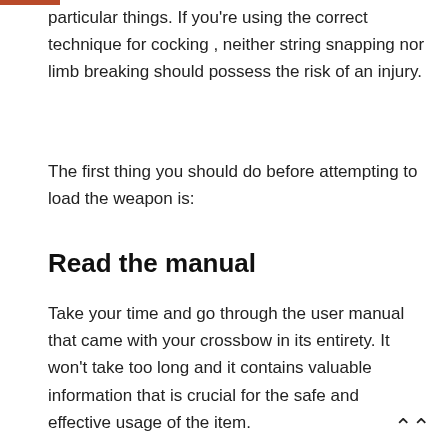particular things. If you're using the correct technique for cocking , neither string snapping nor limb breaking should possess the risk of an injury.
The first thing you should do before attempting to load the weapon is:
Read the manual
Take your time and go through the user manual that came with your crossbow in its entirety. It won't take too long and it contains valuable information that is crucial for the safe and effective usage of the item.